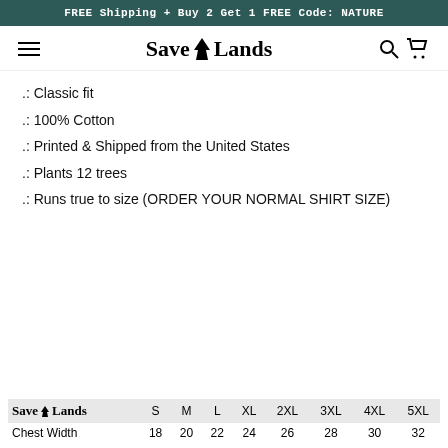FREE Shipping + Buy 2 Get 1 FREE Code: NATURE
[Figure (logo): Save Lands logo with tree icon, hamburger menu icon, search and cart icons in navigation bar]
.: Classic fit
.: 100% Cotton
.: Printed & Shipped from the United States
.: Plants 12 trees
.: Runs true to size (ORDER YOUR NORMAL SHIRT SIZE)
|  | S | M | L | XL | 2XL | 3XL | 4XL | 5XL |
| --- | --- | --- | --- | --- | --- | --- | --- | --- |
| Chest Width | 18 | 20 | 22 | 24 | 26 | 28 | 30 | 32 |